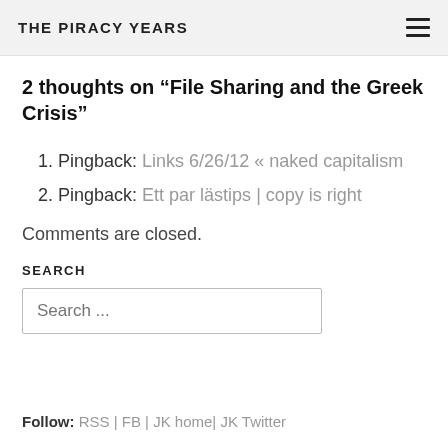THE PIRACY YEARS
2 thoughts on “File Sharing and the Greek Crisis”
Pingback: Links 6/26/12 « naked capitalism
Pingback: Ett par lästips | copy is right
Comments are closed.
SEARCH
Search ...
Follow: RSS | FB | JK home| JK Twitter